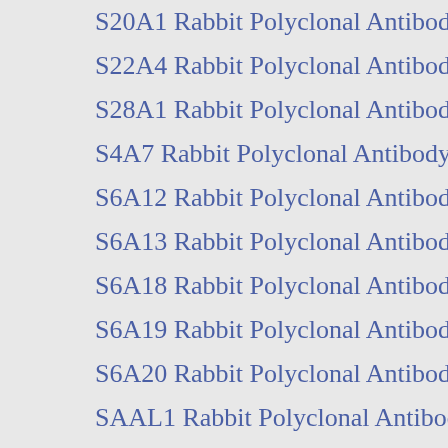S20A1 Rabbit Polyclonal Antibody
S22A4 Rabbit Polyclonal Antibody
S28A1 Rabbit Polyclonal Antibody
S4A7 Rabbit Polyclonal Antibody
S6A12 Rabbit Polyclonal Antibody
S6A13 Rabbit Polyclonal Antibody
S6A18 Rabbit Polyclonal Antibody
S6A19 Rabbit Polyclonal Antibody
S6A20 Rabbit Polyclonal Antibody
SAAL1 Rabbit Polyclonal Antibody
SAS10 Rabbit Polyclonal Antibody
SASH3 Rabbit Polyclonal Antibody
SBK1 Rabbit Polyclonal Antibody